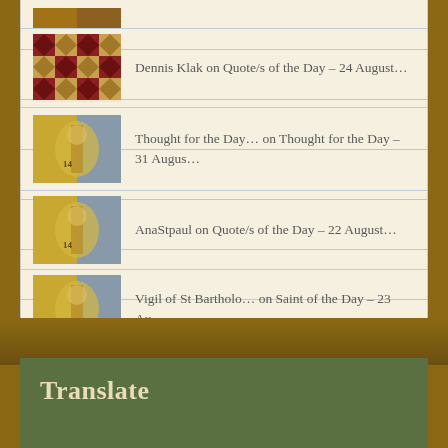Dennis Klak on Quote/s of the Day – 24 August…
Thought for the Day… on Thought for the Day – 31 Augus…
AnaStpaul on Quote/s of the Day – 22 August…
Vigil of St Bartholo… on Saint of the Day – 23 Au…
Translate